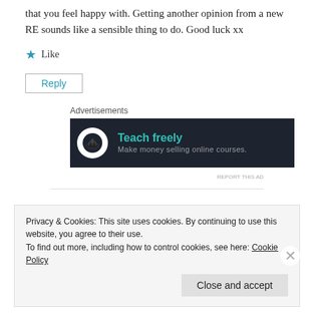that you feel happy with. Getting another opinion from a new RE sounds like a sensible thing to do. Good luck xx
★ Like
Reply
Advertisements
[Figure (other): Advertisement banner: dark background with bonsai tree logo in white circle, text 'Teach freely' in teal and 'Make money selling online courses.' in grey]
REPORT THIS AD
Privacy & Cookies: This site uses cookies. By continuing to use this website, you agree to their use.
To find out more, including how to control cookies, see here: Cookie Policy
Close and accept